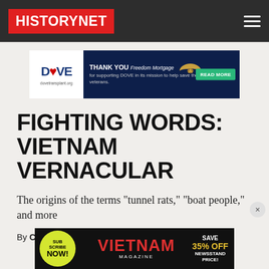HISTORYNET
[Figure (infographic): DOVE advertisement banner: THANK YOU FREEDOM MORTGAGE for supporting DOVE in its mission to help save the lives of veterans. READ MORE button.]
FIGHTING WORDS: VIETNAM VERNACULAR
The origins of the terms "tunnel rats," "boat people," and more
By CHRISTINE AMMER   11/2/2012
[Figure (infographic): Vietnam Magazine subscription ad: SUBSCRIBE NOW! SAVE 35% OFF NEWSSTAND PRICE!]